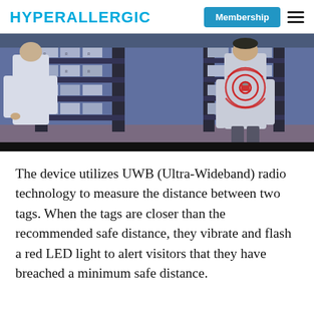HYPERALLERGIC | Membership
[Figure (screenshot): Video screenshot showing two workers in a warehouse/storage room wearing white lab coats. One worker on the right has a red concentric circle target graphic overlaid on their chest, indicating a UWB tracking tag. Shelving units with boxes are visible in the background.]
The device utilizes UWB (Ultra-Wideband) radio technology to measure the distance between two tags. When the tags are closer than the recommended safe distance, they vibrate and flash a red LED light to alert visitors that they have breached a minimum safe distance.